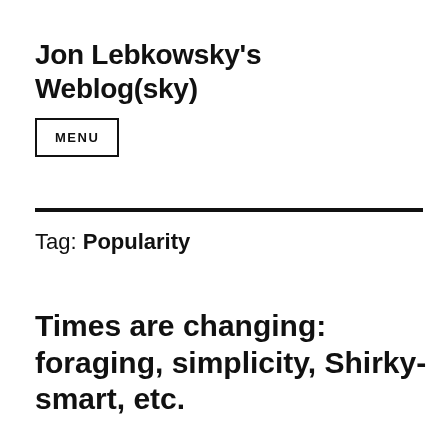Jon Lebkowsky's Weblog(sky)
MENU
Tag: Popularity
Times are changing: foraging, simplicity, Shirky-smart, etc.